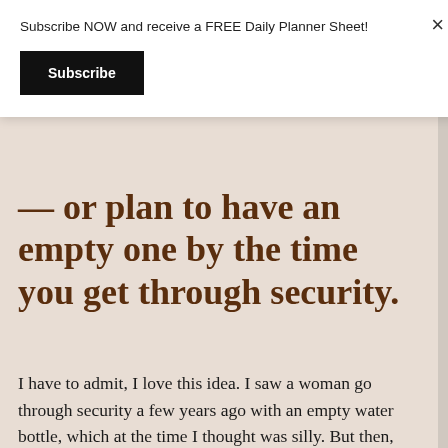Subscribe NOW and receive a FREE Daily Planner Sheet!
Subscribe
— or plan to have an empty one by the time you get through security.
I have to admit, I love this idea. I saw a woman go through security a few years ago with an empty water bottle, which at the time I thought was silly. But then, after security, I saw her go over to one of the soda dispenser machines and fill it up with water! Brilliant! In addition, pack easy-to-carry snacks in case you find yourself delayed or without a way to get something to eat when you need it. Nuts,